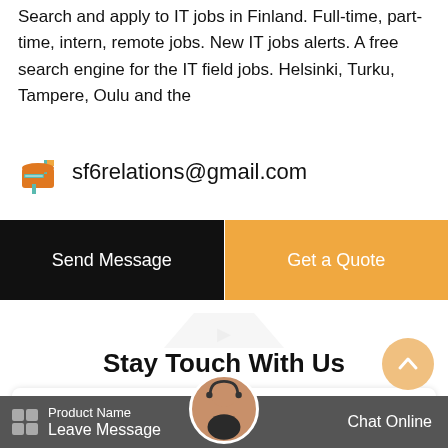Search and apply to IT jobs in Finland. Full-time, part-time, intern, remote jobs. New IT jobs alerts. A free search engine for the IT field jobs. Helsinki, Turku, Tampere, Oulu and the
sf6relations@gmail.com
Send Message
Get a Quote
Stay Touch With Us
Need more information about our products and prices?Just contact us, we are waiting for you!
Product Name
Leave Message
Chat Online